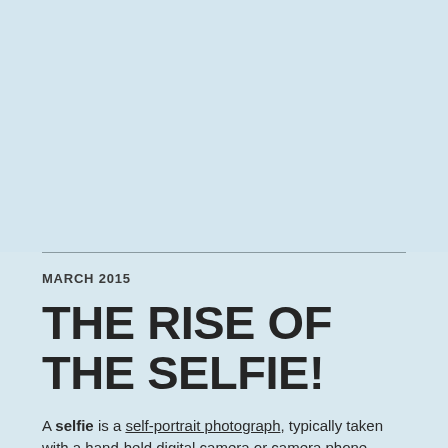[Figure (photo): Light blue/grey background image occupying the upper portion of the page]
MARCH 2015
THE RISE OF THE SELFIE!
A selfie is a self-portrait photograph, typically taken with a hand-held digital camera or camera phone...